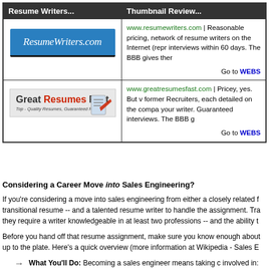| Resume Writers... | Thumbnail Review... |
| --- | --- |
| [ResumeWriters.com logo] | www.resumewriters.com | Reasonable pricing, network of resume writers on the Internet (repr... interviews within 60 days. The BBB gives ther...  Go to WEBS... |
| [Great Resumes Fast logo] | www.greatresumesfast.com | Pricey, yes. But v... former Recruiters, each detailed on the compa... your writer. Guaranteed interviews. The BBB g...  Go to WEBS... |
Considering a Career Move into Sales Engineering?
If you're considering a move into sales engineering from either a closely related f... transitional resume -- and a talented resume writer to handle the assignment. Tra... they require a writer knowledgeable in at least two professions -- and the ability t...
Before you hand off that resume assignment, make sure you know enough about... up to the plate. Here's a quick overview (more information at Wikipedia - Sales E...
What You'll Do: Becoming a sales engineer means taking c... involved in: giving presentations to prospective customers to... presentations to current customers to inform and educate th... advertise and sell a product, making negotiations with custo...